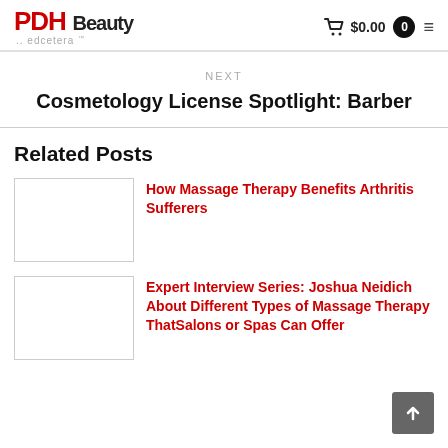PDH Beauty ..edcetera
NEXT
Cosmetology License Spotlight: Barber
Related Posts
[Figure (photo): Thumbnail image placeholder for 'How Massage Therapy Benefits Arthritis Sufferers']
How Massage Therapy Benefits Arthritis Sufferers
[Figure (photo): Thumbnail image placeholder for 'Expert Interview Series: Joshua Neidich About Different Types of Massage Therapy ThatSalons or Spas Can Offer']
Expert Interview Series: Joshua Neidich About Different Types of Massage Therapy ThatSalons or Spas Can Offer